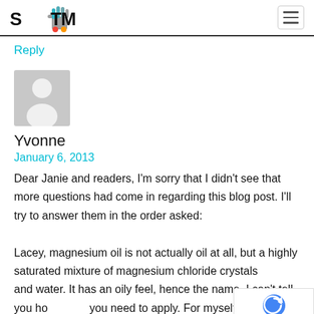STTM
Reply
[Figure (illustration): Default user avatar placeholder — grey square with white silhouette of a person]
Yvonne
January 6, 2013
Dear Janie and readers, I'm sorry that I didn't see that more questions had come in regarding this blog post. I'll try to answer them in the order asked:

Lacey, magnesium oil is not actually oil at all, but a highly saturated mixture of magnesium chloride crystals and water. It has an oily feel, hence the name. I can't tell you how much you need to apply. For myself, I apply a total of 6 spra…